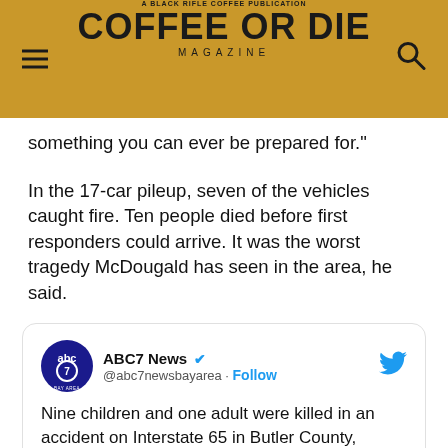COFFEE OR DIE MAGAZINE
something you can ever be prepared for."
In the 17-car pileup, seven of the vehicles caught fire. Ten people died before first responders could arrive. It was the worst tragedy McDougald has seen in the area, he said.
[Figure (screenshot): Embedded tweet from ABC7 News @abc7newsbayarea with text: Nine children and one adult were killed in an accident on Interstate 65 in Butler County, Alabama, on Saturday, according to Butler County Coroner Wayne Garlock. abc7ne.ws/3iWsRoV]